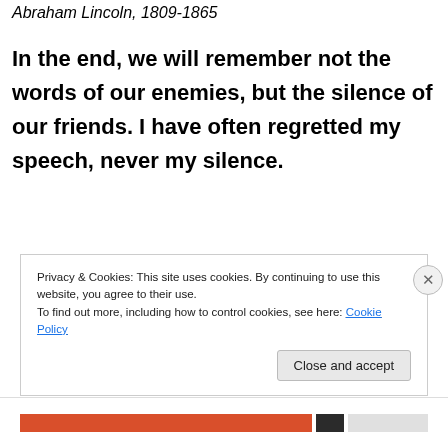Abraham Lincoln, 1809-1865
In the end, we will remember not the words of our enemies, but the silence of our friends. I have often regretted my speech, never my silence.
Privacy & Cookies: This site uses cookies. By continuing to use this website, you agree to their use.
To find out more, including how to control cookies, see here: Cookie Policy
Close and accept